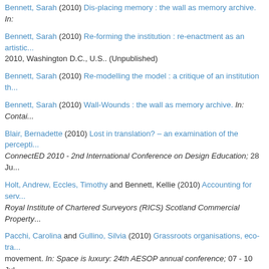Bennett, Sarah (2010) Dis-placing memory : the wall as memory archive. In:
Bennett, Sarah (2010) Re-forming the institution : re-enactment as an artistic... 2010, Washington D.C., U.S.. (Unpublished)
Bennett, Sarah (2010) Re-modelling the model : a critique of an institution th...
Bennett, Sarah (2010) Wall-Wounds : the wall as memory archive. In: Contai...
Blair, Bernadette (2010) Lost in translation? – an examination of the percept... ConnectED 2010 - 2nd International Conference on Design Education; 28 Ju...
Holt, Andrew, Eccles, Timothy and Bennett, Kellie (2010) Accounting for serv... Royal Institute of Chartered Surveyors (RICS) Scotland Commercial Property...
Pacchi, Carolina and Gullino, Silvia (2010) Grassroots organisations, eco-tr... movement. In: Space is luxury: 24th AESOP annual conference; 07 - 10 Jul ...
Passera, Mark (2010) Recruitment, fundraising and interactivity through soci... Association Annual Conference; 29 Mar - 01 Apr 2010, Edinburgh, U.K.. (Un...
Passera, Mark (2010) The production of resistance : digital imperialism & onl... Studies Association Annual Conference; 29 Mar - 01 Apr 2010, Edinburgh, U...